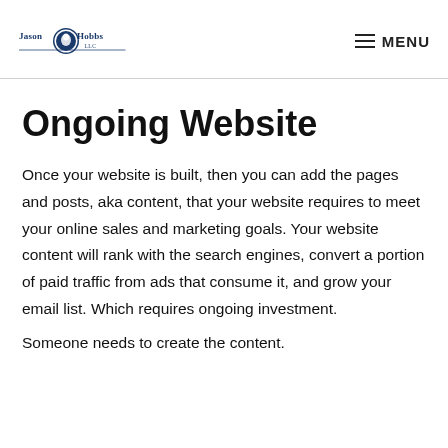Jason Hobbs LLC | MENU
Ongoing Website
Once your website is built, then you can add the pages and posts, aka content, that your website requires to meet your online sales and marketing goals. Your website content will rank with the search engines, convert a portion of paid traffic from ads that consume it, and grow your email list. Which requires ongoing investment.
Someone needs to create the content.